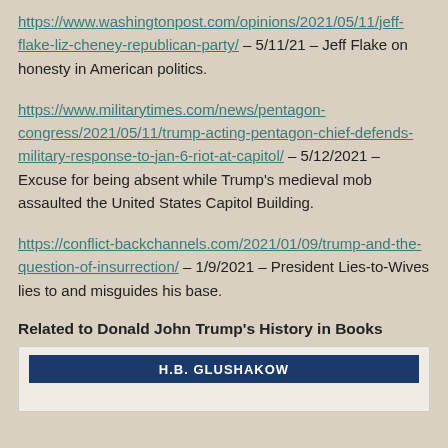https://www.washingtonpost.com/opinions/2021/05/11/jeff-flake-liz-cheney-republican-party/ – 5/11/21 – Jeff Flake on honesty in American politics.
https://www.militarytimes.com/news/pentagon-congress/2021/05/11/trump-acting-pentagon-chief-defends-military-response-to-jan-6-riot-at-capitol/ – 5/12/2021 – Excuse for being absent while Trump's medieval mob assaulted the United States Capitol Building.
https://conflict-backchannels.com/2021/01/09/trump-and-the-question-of-insurrection/ – 1/9/2021 – President Lies-to-Wives lies to and misguides his base.
Related to Donald John Trump's History in Books
[Figure (other): Book cover banner showing author name H.B. GLUSHAKOW on a dark navy blue background]